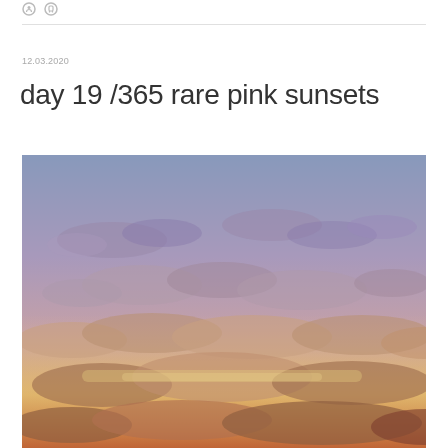icons
12.03.2020
day 19 /365 rare pink sunsets
[Figure (photo): A photograph of a pink and lavender sunset sky filled with scattered clouds, silhouetted against a warm golden horizon glow.]